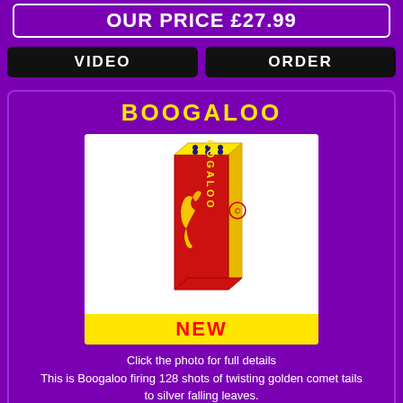OUR PRICE £27.99
VIDEO
ORDER
BOOGALOO
[Figure (photo): Red and yellow tall firework box labelled BOOGALOO with a dragon graphic, with a yellow NEW banner below]
Click the photo for full details
This is Boogaloo firing 128 shots of twisting golden comet tails to silver falling leaves.
OUR PRICE £22.99
VIDEO
ORDER